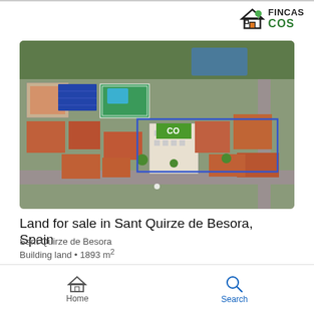[Figure (logo): Fincas COS logo with house icon and green/orange text]
[Figure (photo): Aerial drone photo of building land in Sant Quirze de Besora, Spain, showing rooftops, streets, and a blue outline marking the property boundaries]
Land for sale in Sant Quirze de Besora, Spain
Sant Quirze de Besora
Building land • 1893 m²
€790,000
Home   Search